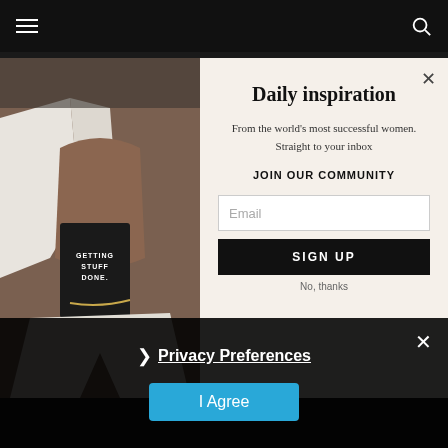Navigation bar with hamburger menu and search icon
[Figure (photo): Fashion photo of a woman in white blazer holding a dark book that reads 'GETTING STUFF DONE.']
Daily inspiration
From the world's most successful women. Straight to your inbox
JOIN OUR COMMUNITY
Email
SIGN UP
No, thanks
Privacy Preferences
I Agree